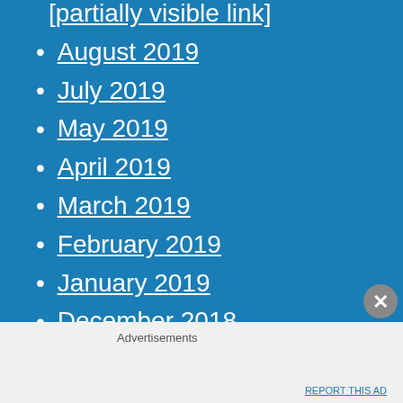August 2019
July 2019
May 2019
April 2019
March 2019
February 2019
January 2019
December 2018
November 2018
October 2018
Advertisements
REPORT THIS AD